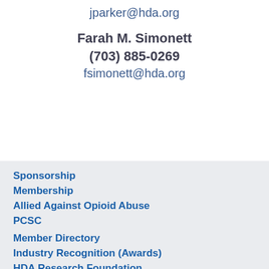jparker@hda.org
Farah M. Simonett
(703) 885-0269
fsimonett@hda.org
Sponsorship
Membership
Allied Against Opioid Abuse
PCSC
Member Directory
Industry Recognition (Awards)
HDA Research Foundation